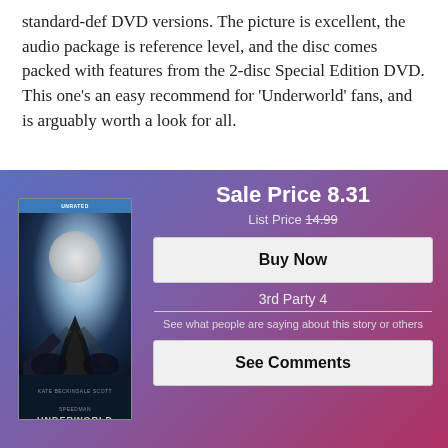standard-def DVD versions. The picture is excellent, the audio package is reference level, and the disc comes packed with features from the 2-disc Special Edition DVD. This one's an easy recommend for 'Underworld' fans, and is arguably worth a look for all.
[Figure (other): Product listing panel with gradient purple-red background showing Underworld Blu-ray movie cover on the left, and sale price information with Buy Now and See Comments buttons on the right.]